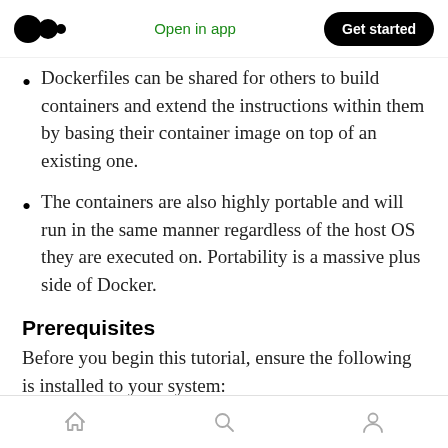Open in app | Get started
Dockerfiles can be shared for others to build containers and extend the instructions within them by basing their container image on top of an existing one.
The containers are also highly portable and will run in the same manner regardless of the host OS they are executed on. Portability is a massive plus side of Docker.
Prerequisites
Before you begin this tutorial, ensure the following is installed to your system:
Home Search Profile